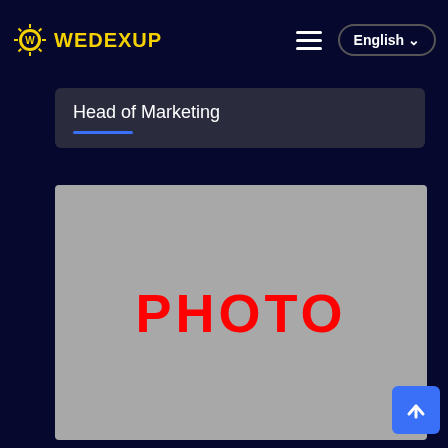[Figure (logo): WEDEXUP logo with yellow star/sunburst icon and yellow text]
Head of Marketing
[Figure (photo): Gray placeholder box with red bold text 'PHOTO' in the center]
[Figure (other): Blue back-to-top button with upward arrow icon, bottom right corner]